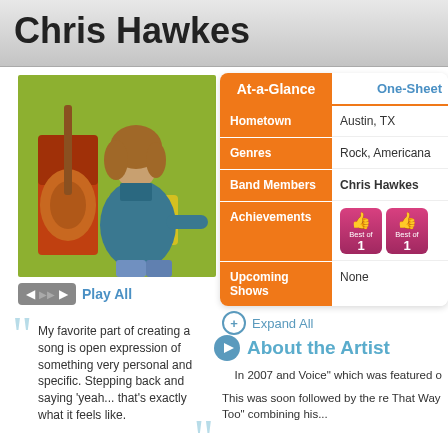Chris Hawkes
[Figure (photo): Photo of Chris Hawkes, a young man with long hair sitting in front of colorful chairs, leaning on a guitar]
[Figure (infographic): At-a-Glance info panel with orange left column and white right column. Rows: Hometown: Austin, TX; Genres: Rock, Americana; Band Members: Chris Hawkes; Achievements: two pink Best of 1 badges; Upcoming Shows: None. One-Sheet tab in blue at top right.]
Play All
My favorite part of creating a song is open expression of something very personal and specific. Stepping back and saying 'yeah... that's exactly what it feels like.
Expand All
About the Artist
In 2007 and Voice" which was featured o
This was soon followed by the re That Way Too" combining his...
Music